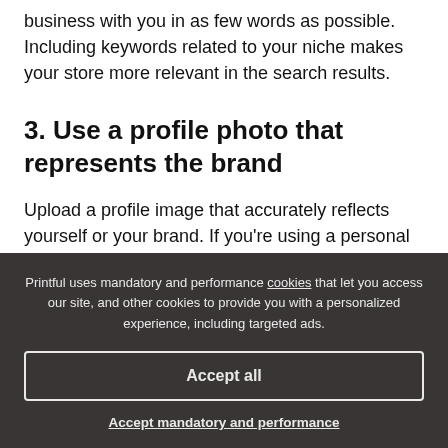business with you in as few words as possible. Including keywords related to your niche makes your store more relevant in the search results.
3. Use a profile photo that represents the brand
Upload a profile image that accurately reflects yourself or your brand. If you're using a personal
Printful uses mandatory and performance cookies that let you access our site, and other cookies to provide you with a personalized experience, including targeted ads.
Accept all
Accept mandatory and performance